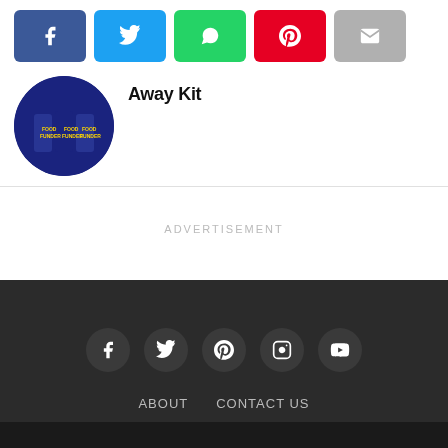[Figure (other): Social share bar with Facebook (blue), Twitter (light blue), WhatsApp (green), Pinterest (red), and Email (gray) buttons]
[Figure (photo): Circular cropped photo of football players wearing blue kits with 'FOOD FUNDER' sponsor text]
Away Kit
ADVERTISEMENT
[Figure (other): Footer social icons: Facebook, Twitter, Pinterest, Instagram, YouTube in dark circles on dark background]
ABOUT   CONTACT US